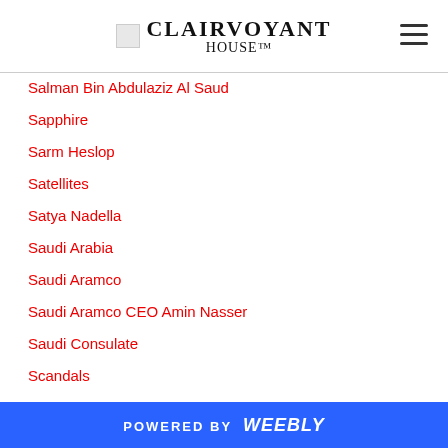CLAIRVOYANT HOUSE
Salman Bin Abdulaziz Al Saud
Sapphire
Sarm Heslop
Satellites
Satya Nadella
Saudi Arabia
Saudi Aramco
Saudi Aramco CEO Amin Nasser
Saudi Consulate
Scandals
Science
Scientist
Scotland
Seagram
Second Impeachment
POWERED BY weebly